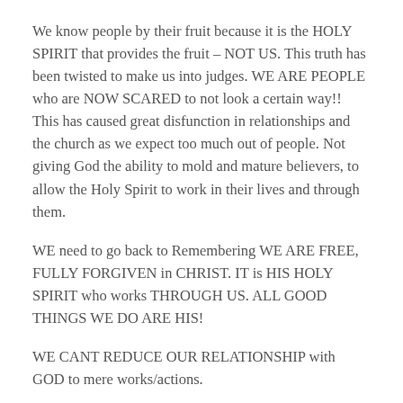We know people by their fruit because it is the HOLY SPIRIT that provides the fruit – NOT US. This truth has been twisted to make us into judges. WE ARE PEOPLE who are NOW SCARED to not look a certain way!! This has caused great disfunction in relationships and the church as we expect too much out of people. Not giving God the ability to mold and mature believers, to allow the Holy Spirit to work in their lives and through them.
WE need to go back to Remembering WE ARE FREE, FULLY FORGIVEN in CHRIST. IT is HIS HOLY SPIRIT who works THROUGH US. ALL GOOD THINGS WE DO ARE HIS!
WE CANT REDUCE OUR RELATIONSHIP with GOD to mere works/actions.
GOD made a us NEW CREATION IN CHRIST. We are from that day forward JUSTIFIED through faith. The